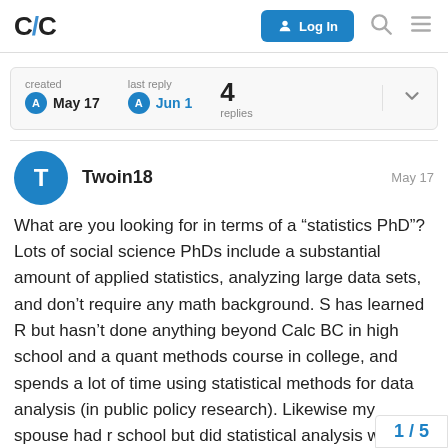C/C [logo] | Log In | Search | Menu
created May 17   last reply Jun 1   4 replies
Twoin18   May 17
What are you looking for in terms of a “statistics PhD”? Lots of social science PhDs include a substantial amount of applied statistics, analyzing large data sets, and don’t require any math background. S has learned R but hasn’t done anything beyond Calc BC in high school and a quant methods course in college, and spends a lot of time using statistical methods for data analysis (in public policy research). Likewise my spouse had r school but did statistical analysis wo
1 / 5